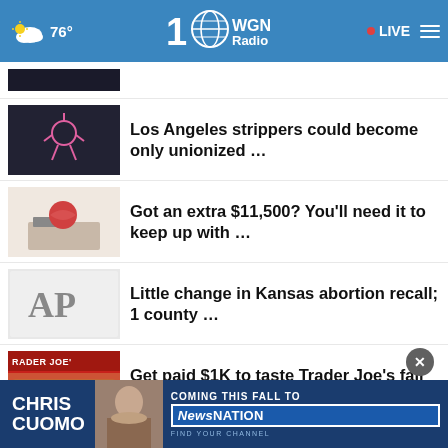76° WGN Radio 100 · LIVE
Los Angeles strippers could become only unionized …
Got an extra $11,500? You'll need it to keep up with …
Little change in Kansas abortion recall; 1 county …
Get paid $1K to taste Trader Joe's fall products …
Student loans are on hold — should you pay anyway?
[Figure (screenshot): Chris Cuomo Coming This Fall to NewsNation advertisement banner]